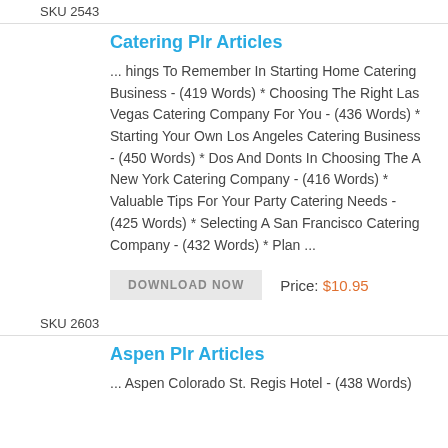SKU 2543
Catering Plr Articles
... hings To Remember In Starting Home Catering Business - (419 Words) * Choosing The Right Las Vegas Catering Company For You - (436 Words) * Starting Your Own Los Angeles Catering Business - (450 Words) * Dos And Donts In Choosing The A New York Catering Company - (416 Words) * Valuable Tips For Your Party Catering Needs - (425 Words) * Selecting A San Francisco Catering Company - (432 Words) * Plan ...
DOWNLOAD NOW   Price: $10.95
SKU 2603
Aspen Plr Articles
... Aspen Colorado St. Regis Hotel - (438 Words)